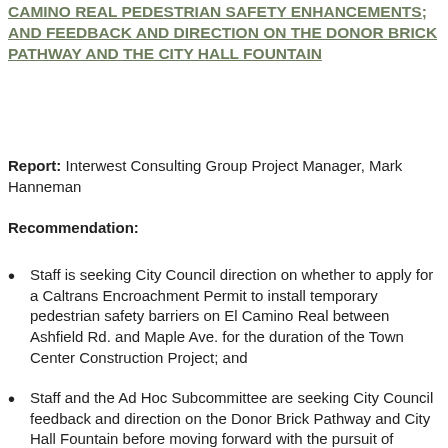CAMINO REAL PEDESTRIAN SAFETY ENHANCEMENTS; AND FEEDBACK AND DIRECTION ON THE DONOR BRICK PATHWAY AND THE CITY HALL FOUNTAIN
Report: Interwest Consulting Group Project Manager, Mark Hanneman
Recommendation:
Staff is seeking City Council direction on whether to apply for a Caltrans Encroachment Permit to install temporary pedestrian safety barriers on El Camino Real between Ashfield Rd. and Maple Ave. for the duration of the Town Center Construction Project; and
Staff and the Ad Hoc Subcommittee are seeking City Council feedback and direction on the Donor Brick Pathway and City Hall Fountain before moving forward with the pursuit of pricing and change orders.
Description: This item involves City Council providing feedback...